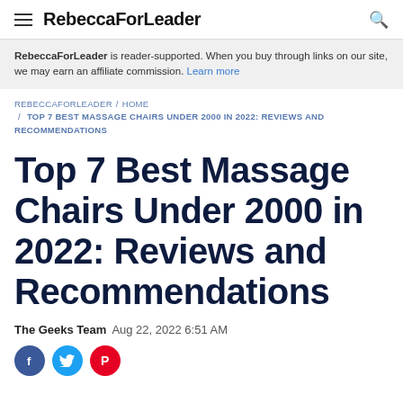RebeccaForLeader
RebeccaForLeader is reader-supported. When you buy through links on our site, we may earn an affiliate commission. Learn more
REBECCAFORLEADER / HOME / TOP 7 BEST MASSAGE CHAIRS UNDER 2000 IN 2022: REVIEWS AND RECOMMENDATIONS
Top 7 Best Massage Chairs Under 2000 in 2022: Reviews and Recommendations
The Geeks Team  Aug 22, 2022 6:51 AM